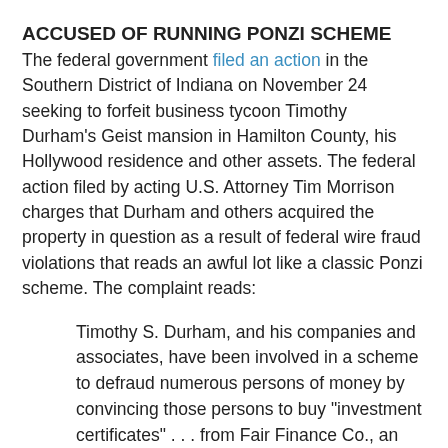ACCUSED OF RUNNING PONZI SCHEME
The federal government filed an action in the Southern District of Indiana on November 24 seeking to forfeit business tycoon Timothy Durham's Geist mansion in Hamilton County, his Hollywood residence and other assets. The federal action filed by acting U.S. Attorney Tim Morrison charges that Durham and others acquired the property in question as a result of federal wire fraud violations that reads an awful lot like a classic Ponzi scheme. The complaint reads:
Timothy S. Durham, and his companies and associates, have been involved in a scheme to defraud numerous persons of money by convincing those persons to buy "investment certificates" . . . from Fair Finance Co., an Ohio company, upon the representations that the money given to buy the investment certificates will be invested in low-risk, high yield, short term consumer debts, and the investors will receive high and interest payments on their...